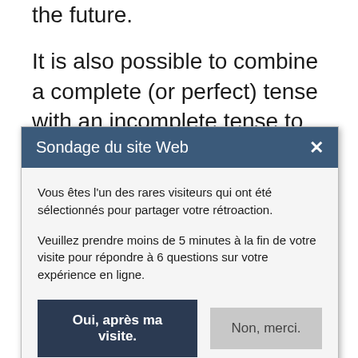the future.
It is also possible to combine a complete (or perfect) tense with an incomplete tense to describe an action which was in progress and
[Figure (screenshot): A modal dialog box titled 'Sondage du site Web' (Web Survey) with a close X button in a dark blue header. The body contains two paragraphs in French explaining that the user is one of the rare visitors selected to share feedback, and asking them to take less than 5 minutes at the end of the visit to answer 6 questions about their online experience. Two buttons at the bottom: 'Oui, après ma visite.' (dark blue) and 'Non, merci.' (grey).]